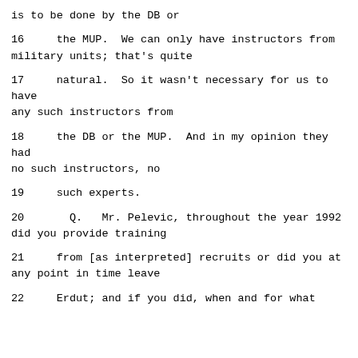is to be done by the DB or
16     the MUP.  We can only have instructors from military units; that's quite
17     natural.  So it wasn't necessary for us to have any such instructors from
18     the DB or the MUP.  And in my opinion they had no such instructors, no
19     such experts.
20       Q.   Mr. Pelevic, throughout the year 1992 did you provide training
21     from [as interpreted] recruits or did you at any point in time leave
22     Erdut; and if you did, when and for what